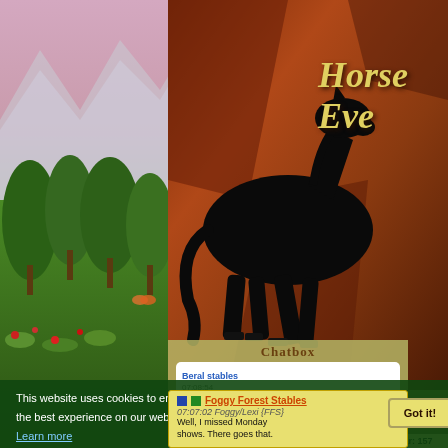[Figure (screenshot): Horse game website screenshot showing a horse silhouette logo on a brown banner, navigation bar with Stable, Services, Search, nature background on left, cookie consent overlay, and chatbox with messages from Beral stables and Foggy Forest Stables]
Horse... Eve...
Stable
Services
Search
Year: 157   Season: Winter
Forecast: Sunny
Chatbox
Beral stables
07:08:54
Got my map back
Foggy Forest Stables
07:07:02 Foggy/Lexi {FFS}
Well, I missed Monday shows. There goes that.
This website uses cookies to ensure you get the best experience on our website.
Learn more
Got it!